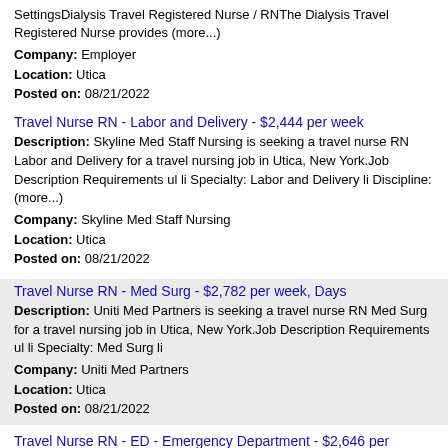SettingsDialysis Travel Registered Nurse / RNThe Dialysis Travel Registered Nurse provides (more...)
Company: Employer
Location: Utica
Posted on: 08/21/2022
Travel Nurse RN - Labor and Delivery - $2,444 per week
Description: Skyline Med Staff Nursing is seeking a travel nurse RN Labor and Delivery for a travel nursing job in Utica, New York.Job Description Requirements ul li Specialty: Labor and Delivery li Discipline: (more...)
Company: Skyline Med Staff Nursing
Location: Utica
Posted on: 08/21/2022
Travel Nurse RN - Med Surg - $2,782 per week, Days
Description: Uniti Med Partners is seeking a travel nurse RN Med Surg for a travel nursing job in Utica, New York.Job Description Requirements ul li Specialty: Med Surg li
Company: Uniti Med Partners
Location: Utica
Posted on: 08/21/2022
Travel Nurse RN - ED - Emergency Department - $2,646 per